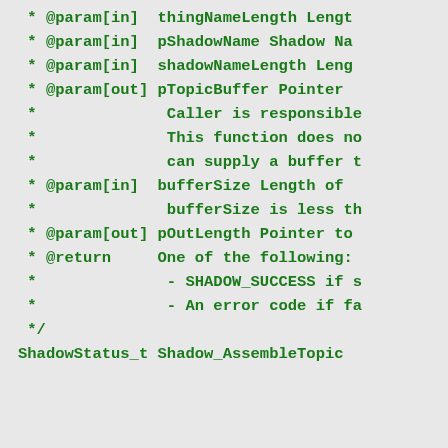* @param[in]  thingNameLength Lengt
 * @param[in]  pShadowName Shadow Na
 * @param[in]  shadowNameLength Leng
 * @param[out] pTopicBuffer Pointer
 *              Caller is responsible
 *              This function does no
 *              can supply a buffer t
 * @param[in]  bufferSize Length of
 *              bufferSize is less th
 * @param[out] pOutLength Pointer to
 * @return     One of the following:
 *              - SHADOW_SUCCESS if s
 *              - An error code if fa
 */
ShadowStatus_t Shadow_AssembleTopic